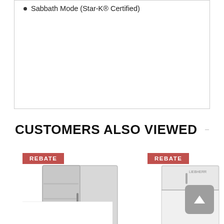Sabbath Mode (Star-K® Certified)
CUSTOMERS ALSO VIEWED
[Figure (photo): Built-in refrigerator with open door showing interior shelves, with ENERGY STAR badge, and a red REBATE banner]
[Figure (photo): White top-freezer refrigerator with red REBATE banner]